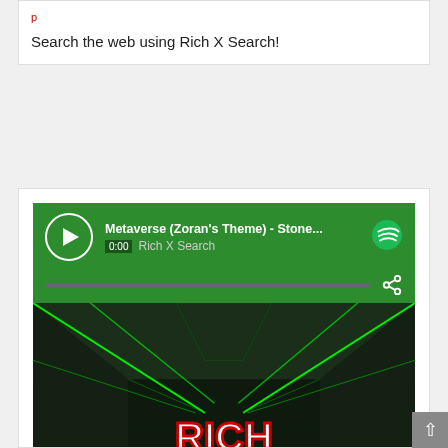Search the web using Rich X Search!
[Figure (screenshot): Spotify embed player showing 'Metaverse (Zoran's Theme) - Stone...' by Rich X Search with a play button, progress bar at 0:00, share icon, Spotify logo, and album artwork featuring neon green laser lines in a dark tunnel with 'RICH X' logo text in white and red.]